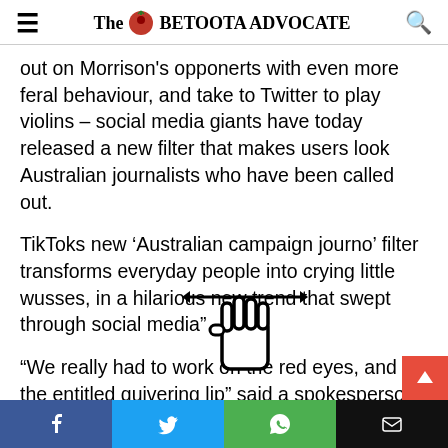The BETOOTA ADVOCATE
out on Morrison's opponents with even more feral behaviour, and take to Twitter to play violins – social media giants have today released a new filter that makes users look Australian journalists who have been called out.
TikToks new ‘Australian campaign journo’ filter transforms everyday people into crying little wusses, in a hilarious new trend that swept through social media”
[Figure (illustration): A pointing hand cursor with horizontal resize arrows, overlaid on the text]
“We really had to work on the red eyes, and the entitled quivering lip” said a spokesperson for the platform.
Facebook | Twitter | WhatsApp | Email share buttons